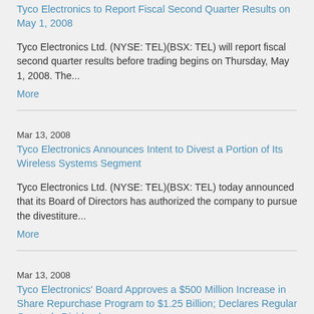Tyco Electronics to Report Fiscal Second Quarter Results on May 1, 2008
Tyco Electronics Ltd. (NYSE: TEL)(BSX: TEL) will report fiscal second quarter results before trading begins on Thursday, May 1, 2008. The...
More
Mar 13, 2008
Tyco Electronics Announces Intent to Divest a Portion of Its Wireless Systems Segment
Tyco Electronics Ltd. (NYSE: TEL)(BSX: TEL) today announced that its Board of Directors has authorized the company to pursue the divestiture...
More
Mar 13, 2008
Tyco Electronics' Board Approves a $500 Million Increase in Share Repurchase Program to $1.25 Billion; Declares Regular Quarterly Dividend
Tyco Electronics Ltd. (NYSE: TEL)(BSX: TEL) today